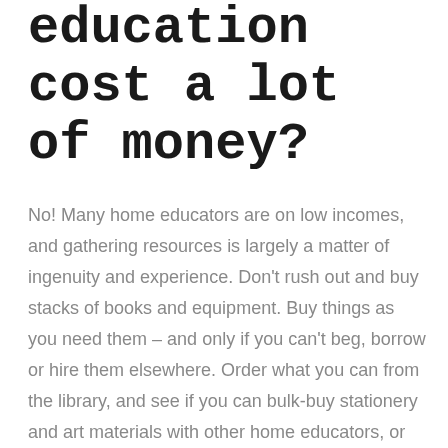education cost a lot of money?
No! Many home educators are on low incomes, and gathering resources is largely a matter of ingenuity and experience. Don't rush out and buy stacks of books and equipment. Buy things as you need them – and only if you can't beg, borrow or hire them elsewhere. Order what you can from the library, and see if you can bulk-buy stationery and art materials with other home educators, or share the cost of any expensive items. Trawl charity shops and car-boot sales regularly. Make the most of school TV programmes. Keep an eye on free software on the front of computer magazines. Ask if you